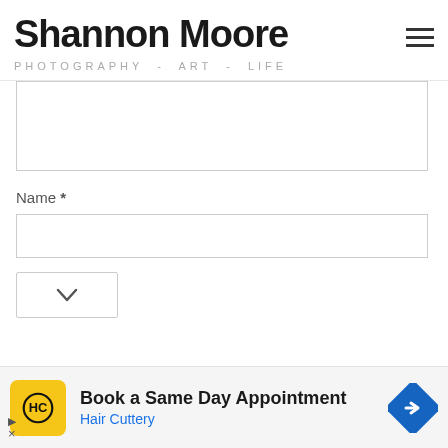Shannon Moore
PHOTOGRAPHY - ART - LIFE
[Figure (screenshot): Text area input field (comment box), partially visible at top]
Name *
[Figure (screenshot): Text input field for Name]
[Figure (screenshot): Dropdown selector showing a chevron down arrow]
[Figure (infographic): Advertisement banner: Hair Cuttery - Book a Same Day Appointment]